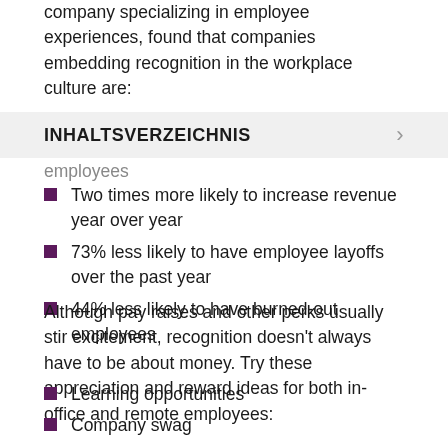company specializing in employee experiences, found that companies embedding recognition in the workplace culture are:
INHALTSVERZEICHNIS
employees
Two times more likely to increase revenue year over year
73% less likely to have employee layoffs over the past year
44% less likely to have burned-out employees
Although pay raises and other perks usually stir excitement, recognition doesn't always have to be about money. Try these appreciation and reward ideas for both in-office and remote employees:
Learning opportunities
Company swag
Tip: gifts (or a note) hit with recognition